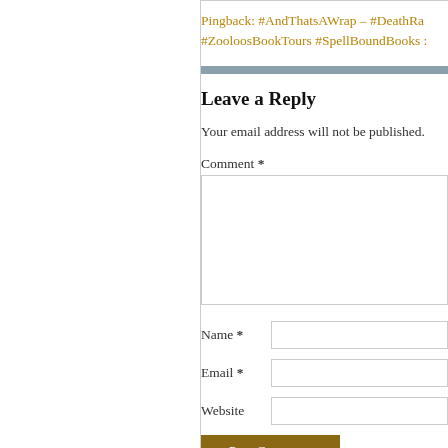Pingback: #AndThatsAWrap – #DeathRa… #ZooloosBookTours #SpellBoundBooks …
Leave a Reply
Your email address will not be published.
Comment *
Name *
Email *
Website
Post Comment